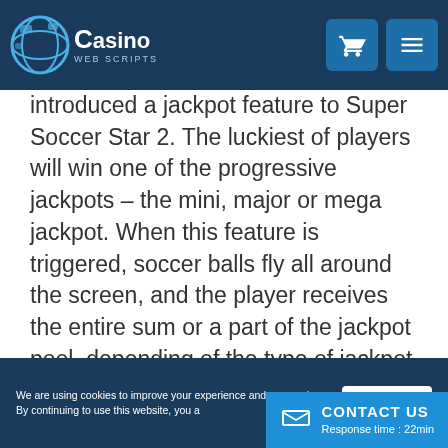Casino Web Scripts
introduced a jackpot feature to Super Soccer Star 2. The luckiest of players will win one of the progressive jackpots – the mini, major or mega jackpot. When this feature is triggered, soccer balls fly all around the screen, and the player receives the entire sum or a part of the jackpot pool, depending of the type of jackpot won.
Penalty Shootout Challenge
If you are looking for some real football
We are using cookies to improve your experience and our services. By continuing to use this website, you agree   I agree!   CONTACT US Response time : 22min